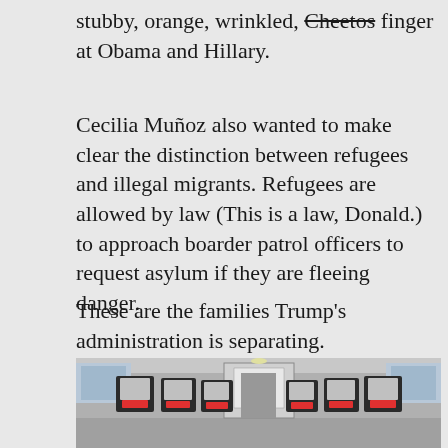stubby, orange, wrinkled, Cheetos finger at Obama and Hillary.
Cecilia Muñoz also wanted to make clear the distinction between refugees and illegal migrants. Refugees are allowed by law (This is a law, Donald.) to approach boarder patrol officers to request asylum if they are fleeing danger.
These are the families Trump's administration is separating.
[Figure (photo): Interior of a bus or van filled with car seats/child safety seats arranged in rows, viewed from the front looking toward the back. A door with a window is visible at the far end. Windows on the sides show an outdoor scene.]